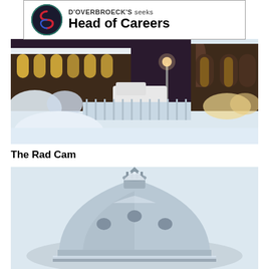[Figure (other): D'Overbroeck's logo and job advertisement banner: circular logo with red and blue swirls on dark background, text reads 'D'OVERBROECK'S seeks Head of Careers']
[Figure (photo): Snow-covered Oxford college building exterior at night/dusk, illuminated Gothic windows, a white van parked in a snowy courtyard with a large snow mound in the foreground]
The Rad Cam
[Figure (photo): Photo of the Radcliffe Camera dome in Oxford, covered in snow, against a pale grey winter sky, showing the circular baroque dome with lantern on top]